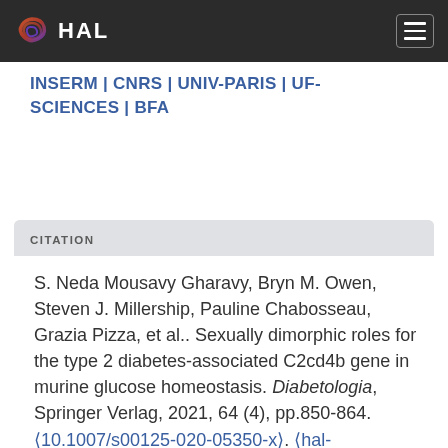HAL
INSERM | CNRS | UNIV-PARIS | UF- SCIENCES | BFA
CITATION
S. Neda Mousavy Gharavy, Bryn M. Owen, Steven J. Millership, Pauline Chabosseau, Grazia Pizza, et al.. Sexually dimorphic roles for the type 2 diabetes-associated C2cd4b gene in murine glucose homeostasis. Diabetologia, Springer Verlag, 2021, 64 (4), pp.850-864. ⟨10.1007/s00125-020-05350-x⟩. ⟨hal-03677223⟩